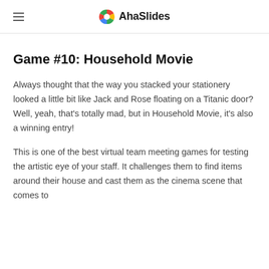AhaSlides
Game #10: Household Movie
Always thought that the way you stacked your stationery looked a little bit like Jack and Rose floating on a Titanic door? Well, yeah, that's totally mad, but in Household Movie, it's also a winning entry!
This is one of the best virtual team meeting games for testing the artistic eye of your staff. It challenges them to find items around their house and cast them as the cinema scene that comes to...